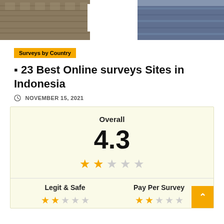[Figure (photo): Header image showing ancient stone temple ruins on the left and a body of water on the right, with a white rectangular overlay in the center]
Surveys by Country
🌐 23 Best Online surveys Sites in Indonesia
NOVEMBER 15, 2021
Overall 4.3 — 2.5 out of 5 stars rating
Legit & Safe
Pay Per Survey